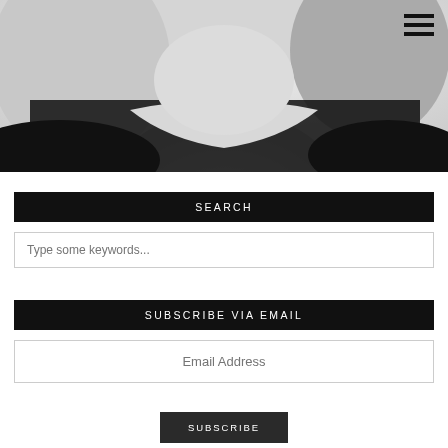[Figure (photo): Black and white close-up photo of a person with light hair wearing a dark/black top, showing neck and upper chest area]
SEARCH
Type some keywords...
SUBSCRIBE VIA EMAIL
Email Address
SUBSCRIBE